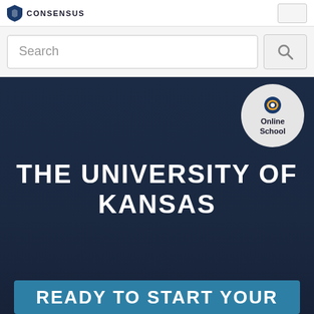[Figure (logo): Consensus logo with blue shield icon and CONSENSUS text in uppercase]
[Figure (screenshot): Search bar with placeholder text 'Search' and a magnifying glass button]
[Figure (logo): Online School circular badge with Consensus icon]
THE UNIVERSITY OF KANSAS
READY TO START YOUR